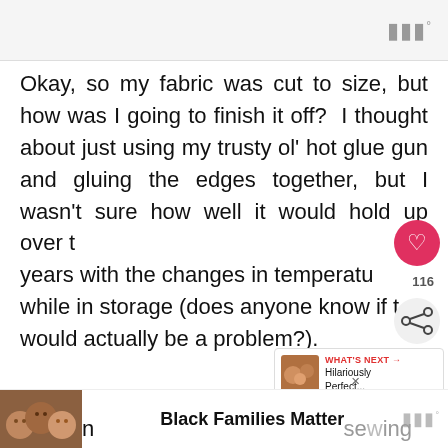[Figure (screenshot): Top navigation bar with Medium-style wordmark icon in grey on right]
Okay, so my fabric was cut to size, but how was I going to finish it off?  I thought about just using my trusty ol' hot glue gun and gluing the edges together, but I wasn't sure how well it would hold up over the years with the changes in temperature while in storage (does anyone know if this would actually be a problem?).
[Figure (infographic): Like button (heart icon in red circle) with 116 count below, share button below that. What's Next panel showing thumbnail and text 'WHAT'S NEXT → Hilariously Perfect...']
So, I bit the proverbial bullet and decided I
[Figure (photo): Advertisement banner at bottom showing photo of Black family with text 'Black Families Matter']